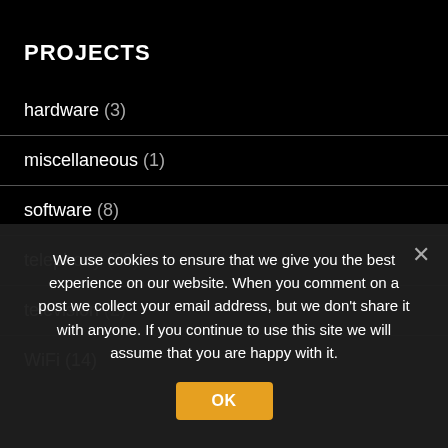PROJECTS
hardware (3)
miscellaneous (1)
software (8)
telephony (10)
television (2)
WiFi (14)
We use cookies to ensure that we give you the best experience on our website. When you comment on a post we collect your email address, but we don't share it with anyone. If you continue to use this site we will assume that you are happy with it.
OK